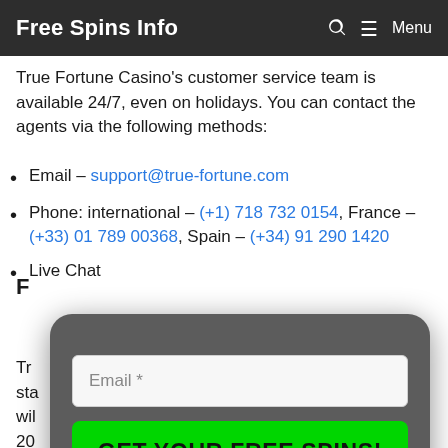Free Spins Info   Menu
True Fortune Casino's customer service team is available 24/7, even on holidays. You can contact the agents via the following methods:
Email – support@true-fortune.com
Phone: international – (+1) 718 732 0154, France – (+33) 01 789 00368, Spain – (+34) 91 290 1420
Live Chat
[Figure (screenshot): A popup form with an email input field labeled 'Email *' and a bright green button reading 'GET YOUR FREE SPINS!']